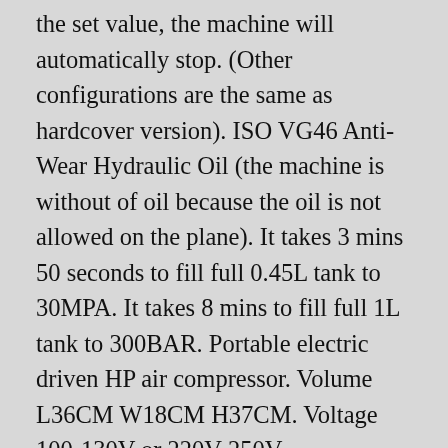the set value, the machine will automatically stop. (Other configurations are the same as hardcover version). ISO VG46 Anti-Wear Hydraulic Oil (the machine is without of oil because the oil is not allowed on the plane). It takes 3 mins 50 seconds to fill full 0.45L tank to 30MPA. It takes 8 mins to fill full 1L tank to 300BAR. Portable electric driven HP air compressor. Volume L36CM W18CM H37CM. Voltage 100-130V or 220V-250V 60HZ/50HZ. Air Flow Rate 50L/Min. Working Pressure 0-300BAR 0-30MPA 0-4500PSI. Cooling System Water Cooling. Compression Stage Two Stage. Lubrication Mode Splash Type. Material of Cover Cast Aluminum. Charging Rate:40-50L/min;1.5-1.8cfm. Of stage and cylinder:2. Shout down: manual stop/automatic stop(for optional).